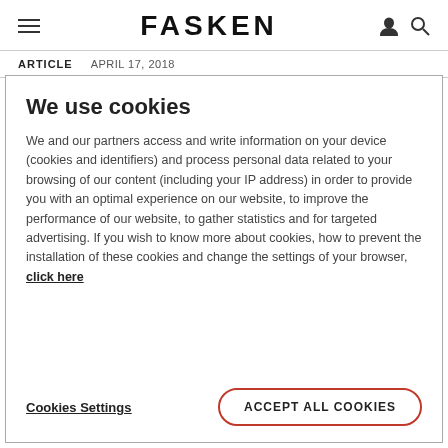FASKEN
ARTICLE   APRIL 17, 2018
We use cookies
We and our partners access and write information on your device (cookies and identifiers) and process personal data related to your browsing of our content (including your IP address) in order to provide you with an optimal experience on our website, to improve the performance of our website, to gather statistics and for targeted advertising. If you wish to know more about cookies, how to prevent the installation of these cookies and change the settings of your browser, click here
Cookies Settings
ACCEPT ALL COOKIES